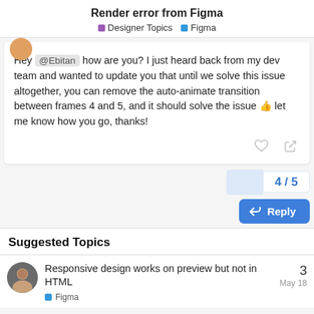Render error from Figma
Designer Topics   Figma
Hey @Ebitan how are you? I just heard back from my dev team and wanted to update you that until we solve this issue altogether, you can remove the auto-animate transition between frames 4 and 5, and it should solve the issue 👍 let me know how you go, thanks!
4 / 5
Reply
Suggested Topics
Responsive design works on preview but not in HTML
3
Figma
May 18